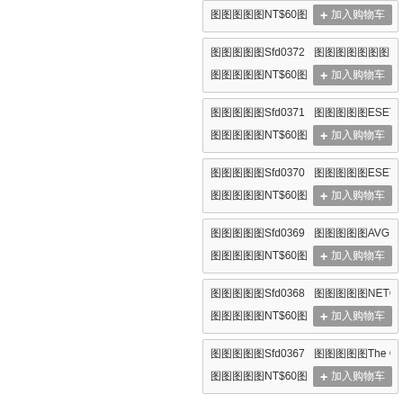商品編號NT$600 + 加入购物车
商品編號Sfd0372 商品名稱 Trend Micro PC-ci... 商品單價NT$600 + 加入购物车
商品編號Sfd0371 商品名稱ESET NOD32 AntiViru... 商品單價NT$600 + 加入购物车
商品編號Sfd0370 商品名稱ESET Smart Security P... 商品單價NT$600 + 加入购物车
商品編號Sfd0369 商品名稱AVG Anti-Virus Pro 20... 商品單價NT$600 + 加入购物车
商品編號Sfd0368 商品名稱NETGATE Spy Emerg... 商品單價NT$600 + 加入购物车
商品編號Sfd0367 商品名稱The Cleaner 2012 v8.1... 商品單價NT$600 + 加入购物车